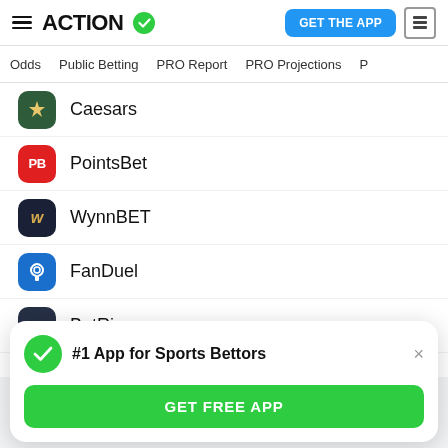ACTION (logo with checkmark)
Odds | Public Betting | PRO Report | PRO Projections
Caesars
PointsBet
WynnBET
FanDuel
BetRivers
#1 App for Sports Bettors
GET FREE APP